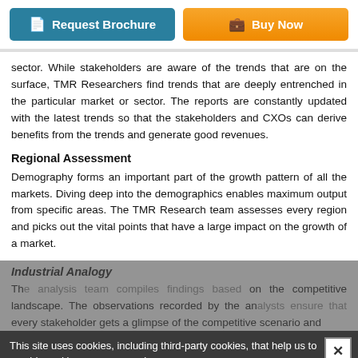[Figure (other): Two buttons: 'Request Brochure' (teal) and 'Buy Now' (orange)]
sector. While stakeholders are aware of the trends that are on the surface, TMR Researchers find trends that are deeply entrenched in the particular market or sector. The reports are constantly updated with the latest trends so that the stakeholders and CXOs can derive benefits from the trends and generate good revenues.
Regional Assessment
Demography forms an important part of the growth pattern of all the markets. Diving deep into the demographics enables maximum output from specific areas. The TMR Research team assesses every region and picks out the vital points that have a large impact on the growth of a market.
Industrial Analogy
Th... on the competitive landscape. The observations recorded by the ana... every stakeholder gets a glimpse of the competitive scenario and
This site uses cookies, including third-party cookies, that help us to provide and improve our services.
Privacy Policy
I AGREE